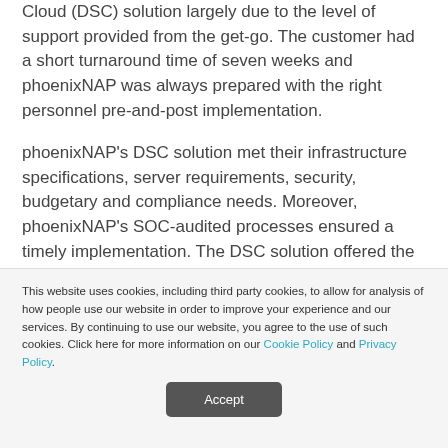Cloud (DSC) solution largely due to the level of support provided from the get-go. The customer had a short turnaround time of seven weeks and phoenixNAP was always prepared with the right personnel pre-and-post implementation.
phoenixNAP's DSC solution met their infrastructure specifications, server requirements, security, budgetary and compliance needs. Moreover, phoenixNAP's SOC-audited processes ensured a timely implementation. The DSC solution offered the
This website uses cookies, including third party cookies, to allow for analysis of how people use our website in order to improve your experience and our services. By continuing to use our website, you agree to the use of such cookies. Click here for more information on our Cookie Policy and Privacy Policy.